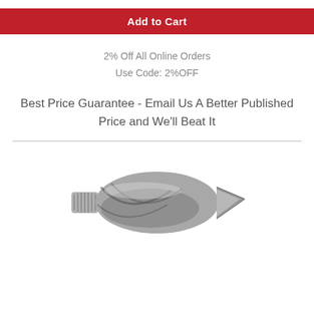Add to Cart
2% Off All Online Orders
Use Code: 2%OFF
Best Price Guarantee - Email Us A Better Published Price and We'll Beat It
[Figure (photo): A metallic drill bit or countersink bit with spiral flutes and a threaded shank, shown at an angle on a white background.]